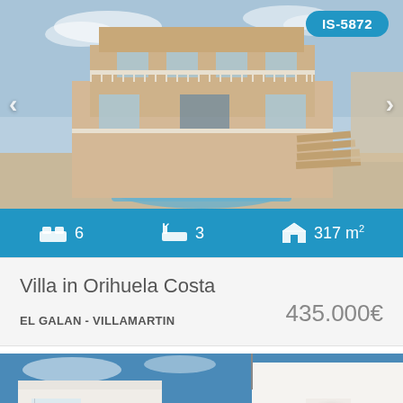[Figure (photo): Exterior photo of a two-story villa with pool, balconies and staircase. Reference code IS-5872 shown as badge top right.]
6 bedrooms · 3 bathrooms · 317 m²
Villa in Orihuela Costa
EL GALAN - VILLAMARTIN
435.000€
[Figure (photo): Partial exterior photo of a modern white villa with blue sky background. ShowHouse logo visible.]